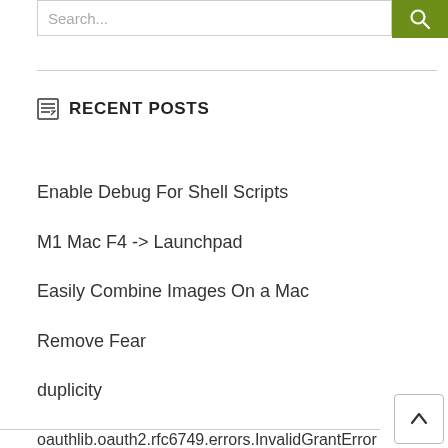[Figure (screenshot): Search bar with text input field and green search button with magnifying glass icon]
RECENT POSTS
Enable Debug For Shell Scripts
M1 Mac F4 -> Launchpad
Easily Combine Images On a Mac
Remove Fear
duplicity
oauthlib.oauth2.rfc6749.errors.InvalidGrantError